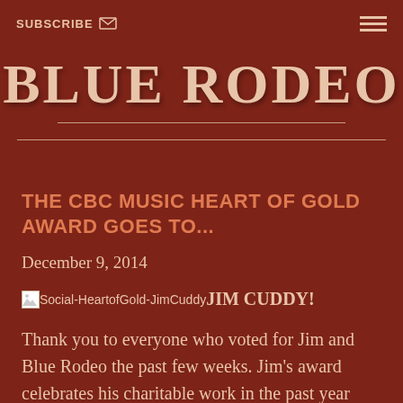SUBSCRIBE [envelope icon] [hamburger menu]
BLUE RODEO
THE CBC MUSIC HEART OF GOLD AWARD GOES TO...
December 9, 2014
[Figure (other): Broken image placeholder labeled Social-HeartofGold-JimCuddy followed by bold text JIM CUDDY!]
Thank you to everyone who voted for Jim and Blue Rodeo the past few weeks. Jim’s award celebrates his charitable work in the past year